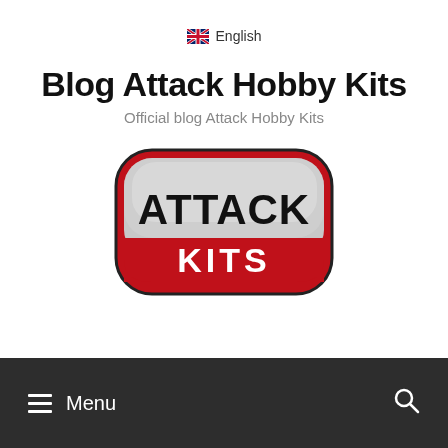🇬🇧 English
Blog Attack Hobby Kits
Official blog Attack Hobby Kits
[Figure (logo): Attack Kits logo: a rounded rectangular badge with silver/grey upper half containing bold black stencil text 'ATTACK' and red lower half with white bold text 'KITS', red outer border with dark outline]
☰ Menu  🔍